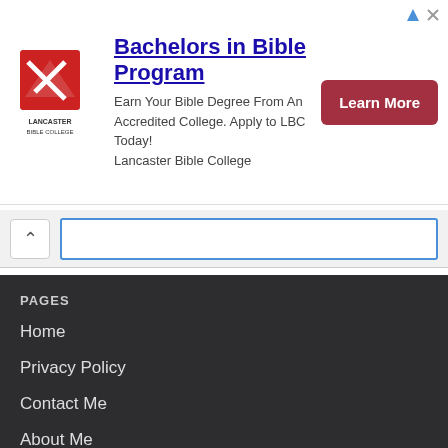[Figure (illustration): Lancaster Bible College advertisement banner with logo, headline 'Bachelors in Bible Program', body text, and a Learn More button]
[Figure (screenshot): Search bar row with a caret/up-arrow button and a text input field with blue border]
PAGES
Home
Privacy Policy
Contact Me
About Me
POPULAR POSTS
Toggle Mod Live COMBO v42.0 - MEGA UPDATE - One Shot Kill, Ultra Fast Bullets, Ultra Zoom 7x - Bug Fixes & Revamped Features - Mini Militia v4.1.1 - WORKS ON MULTIPLAYERS
Hey militants,
you're into 8 Ball Pool, then this is for you. Toggle
New Toggle Mod Series For 8 Ball Pool
If